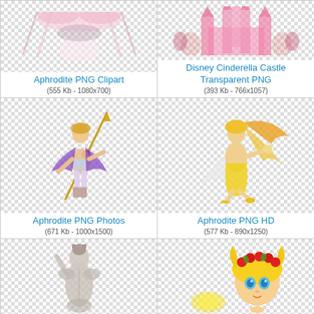[Figure (illustration): Aphrodite PNG Clipart - top portion of a feminine face with pink/white flowing hair on checkerboard background]
Aphrodite PNG Clipart
(555 Kb - 1080x700)
[Figure (illustration): Disney Cinderella Castle Transparent PNG - pink castle silhouette on checkerboard background]
Disney Cinderella Castle Transparent PNG
(393 Kb - 766x1057)
[Figure (illustration): Aphrodite PNG Photos - anime-style warrior goddess with spear, purple ribbon, gold armor on checkerboard background]
Aphrodite PNG Photos
(671 Kb - 1000x1500)
[Figure (illustration): Aphrodite PNG HD - anime-style blonde goddess in yellow dress running, flowing orange hair on checkerboard background]
Aphrodite PNG HD
(577 Kb - 890x1250)
[Figure (illustration): Bottom left cell - grayscale figure of a nude female back, hair up, on checkerboard background]
[Figure (illustration): Bottom right cell - cartoon blonde goddess with flower crown and glowing golden light on checkerboard background]